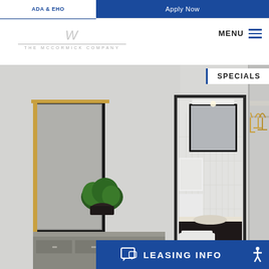ADA & EHO
Apply Now
[Figure (logo): The McCormick Company logo with stylized W and company name]
MENU
SPECIALS
[Figure (photo): Apartment interior showing bedroom area with framed mirror, plant on dresser, open doorway revealing bathroom with vanity mirror and fixtures, and closet area with wooden hangers on rod]
LEASING INFO